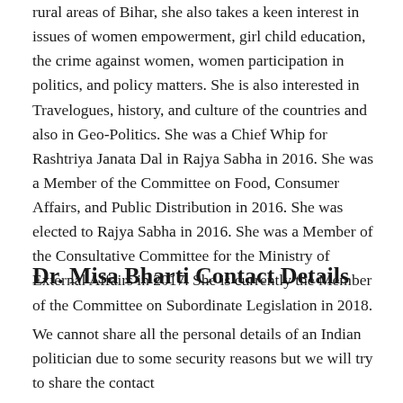rural areas of Bihar, she also takes a keen interest in issues of women empowerment, girl child education, the crime against women, women participation in politics, and policy matters. She is also interested in Travelogues, history, and culture of the countries and also in Geo-Politics. She was a Chief Whip for Rashtriya Janata Dal in Rajya Sabha in 2016. She was a Member of the Committee on Food, Consumer Affairs, and Public Distribution in 2016. She was elected to Rajya Sabha in 2016. She was a Member of the Consultative Committee for the Ministry of External Affairs in 2017. She is currently the Member of the Committee on Subordinate Legislation in 2018.
Dr. Misa Bharti Contact Details
We cannot share all the personal details of an Indian politician due to some security reasons but we will try to share the contact